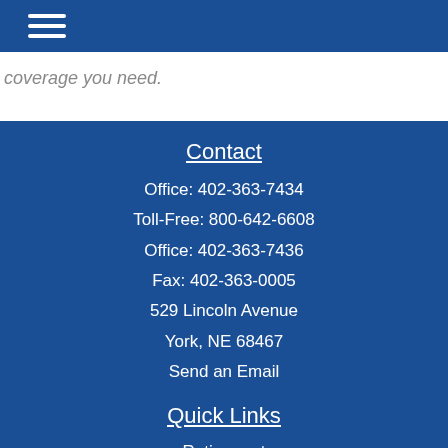coverage you need.
Contact
Office: 402-363-7434
Toll-Free: 800-642-6608
Office: 402-363-7436
Fax: 402-363-0005
529 Lincoln Avenue
York, NE 68467
Send an Email
Quick Links
Retirement
Investment
Estate